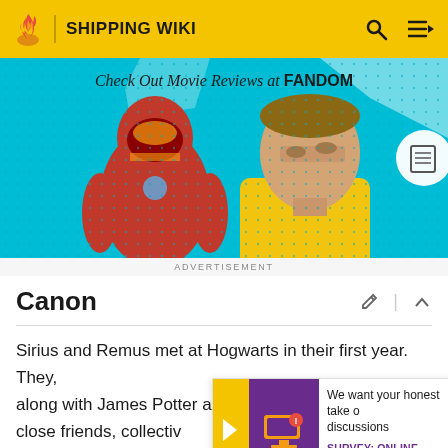SHIPPING WIKI
[Figure (illustration): Advertisement banner for Fandom Movie Reviews showing Iron Man and a man in a yellow shirt against a teal background. Text reads 'Check Out Movie Reviews at FANDOM']
ADVERTISEMENT
Canon
Sirius and Remus met at Hogwarts in their first year. They, along with James Potter and Peter Pettigrew, became close friends, collectiv... (except for Peter) were... students with a passion...
[Figure (infographic): Survey popup widget with yellow arrow, purple image icon, text 'We want your honest take o... discussions' and 'SURVEY: ONLINE FORUMS']